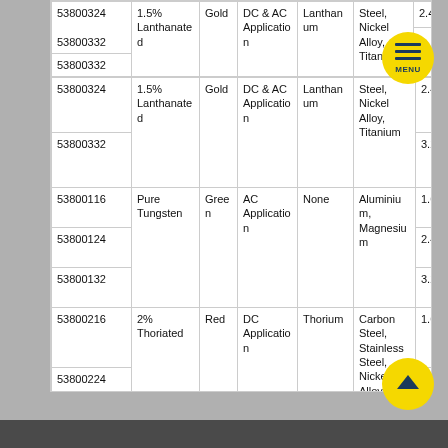| Part Number | Type | Color | Application | Alloying Element | Compatible Base Metals | Size |
| --- | --- | --- | --- | --- | --- | --- |
| 53800324 | 1.5% Lanthanated | Gold | DC & AC Application | Lanthanum | Steel, Nickel Alloy, Titanium | 2.4 X … |
| 53800332 |  |  |  |  |  | 3.2 X … |
| 53800116 |  |  |  |  |  | 1.6 X … |
| 53800124 | Pure Tungsten | Green | AC Application | None | Aluminium, Magnesium | 2.4 X … |
| 53800132 |  |  |  |  |  | 3.2 X … |
| 53800216 |  |  |  |  | Carbon Steel, Stainless Steel, Nickel Alloy, Titanium, Copper | 1.6 X … |
| 53800224 | 2% Thoriated | Red | DC Application | Thorium |  | 2.4 X … |
| 53800232 |  |  |  |  |  | 3.2 X … |